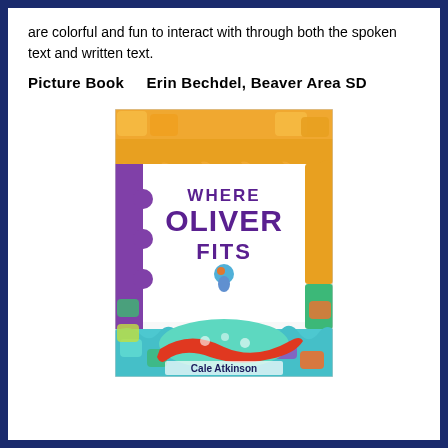are colorful and fun to interact with through both the spoken text and written text.
Picture Book    Erin Bechdel, Beaver Area SD
[Figure (illustration): Book cover of 'Where Oliver Fits' by Cale Atkinson. Colorful puzzle pieces in orange, teal, purple, and green surround white space with bold purple text reading WHERE OLIVER FITS. A small cartoon character floats in the center. Author name Cale Atkinson at bottom.]